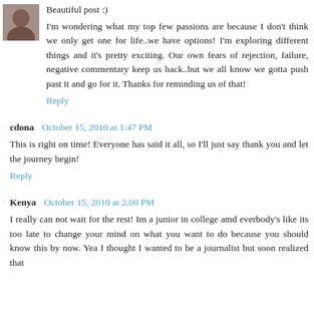[Figure (photo): Small avatar thumbnail photo of a person]
Beautiful post :)
I'm wondering what my top few passions are because I don't think we only get one for life..we have options! I'm exploring different things and it's pretty exciting. Our own fears of rejection, failure, negative commentary keep us back..but we all know we gotta push past it and go for it. Thanks for reminding us of that!
Reply
cdona   October 15, 2010 at 1:47 PM
This is right on time! Everyone has said it all, so I'll just say thank you and let the journey begin!
Reply
Kenya   October 15, 2010 at 2:00 PM
I really can not wait for the rest! Im a junior in college amd everbody's like its too late to change your mind on what you want to do because you should know this by now. Yea I thought I wanted to be a journalist but soon realized that